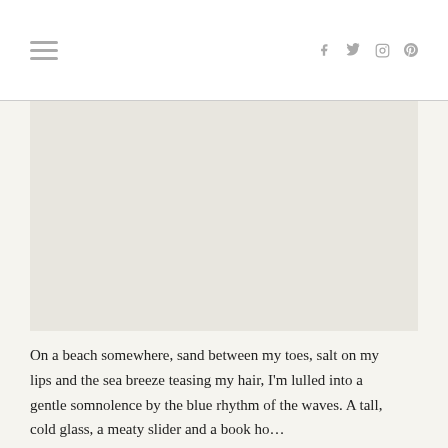[hamburger menu icon] [Facebook icon] [Twitter icon] [Instagram icon] [Pinterest icon]
[Figure (photo): Large image placeholder area — beach/lifestyle photo (not visible in this crop, shown as blank area)]
On a beach somewhere, sand between my toes, salt on my lips and the sea breeze teasing my hair, I'm lulled into a gentle somnolence by the blue rhythm of the waves. A tall, cold glass, a meaty slider and a book ho…